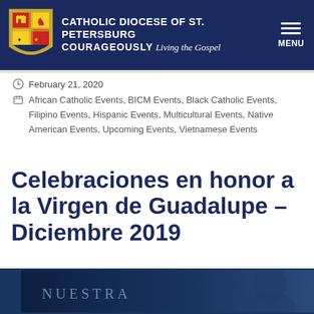CATHOLIC DIOCESE OF ST. PETERSBURG — COURAGEOUSLY Living the Gospel
February 21, 2020
African Catholic Events, BICM Events, Black Catholic Events, Filipino Events, Hispanic Events, Multicultural Events, Native American Events, Upcoming Events, Vietnamese Events
Celebraciones en honor a la Virgen de Guadalupe – Diciembre 2019
[Figure (photo): Partial image at bottom showing the word NUESTRA against a dark blue background, part of an image related to Nuestra Señora de Guadalupe]